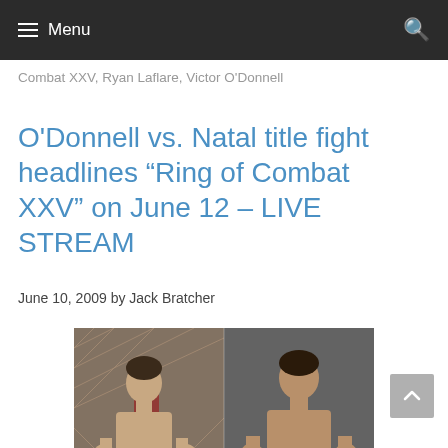Menu
Combat XXV, Ryan Laflare, Victor O'Donnell
O'Donnell vs. Natal title fight headlines “Ring of Combat XXV” on June 12 – LIVE STREAM
June 10, 2009 by Jack Bratcher
[Figure (photo): Side-by-side photos of two MMA fighters in fighting stances; left fighter in front of a chain-link MMA cage background, right fighter against a plain background.]